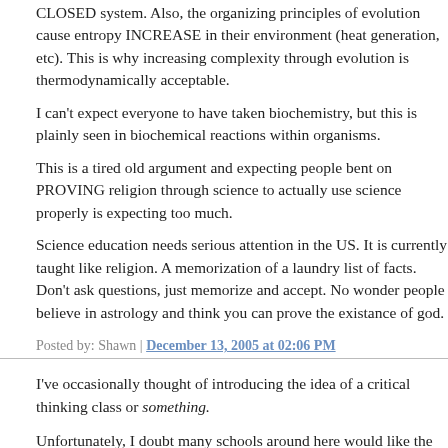CLOSED system. Also, the organizing principles of evolution cause entropy INCREASE in their environment (heat generation, etc). This is why increasing complexity through evolution is thermodynamically acceptable.
I can't expect everyone to have taken biochemistry, but this is plainly seen in biochemical reactions within organisms.
This is a tired old argument and expecting people bent on PROVING religion through science to actually use science properly is expecting too much.
Science education needs serious attention in the US. It is currently taught like religion. A memorization of a laundry list of facts. Don't ask questions, just memorize and accept. No wonder people believe in astrology and think you can prove the existance of god.
Posted by: Shawn | December 13, 2005 at 02:06 PM
I've occasionally thought of introducing the idea of a critical thinking class or something.
Unfortunately, I doubt many schools around here would like the idea.
Posted by: BronzeDog | December 13, 2005 at 02:30 PM
The comments to this entry are closed.